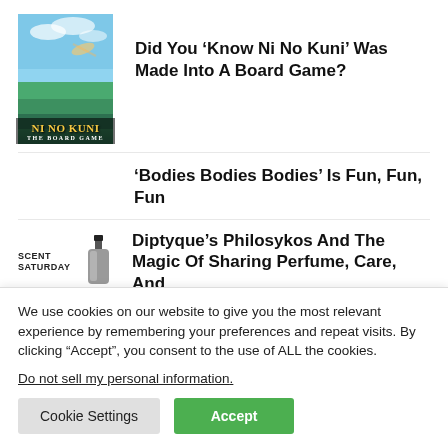[Figure (photo): Ni No Kuni The Board Game box art thumbnail showing fantasy sky and landscape scene]
Did You ‘Know Ni No Kuni’ Was Made Into A Board Game?
‘Bodies Bodies Bodies’ Is Fun, Fun, Fun
[Figure (photo): Scent Saturday label next to a perfume bottle]
Diptyque’s Philosykos And The Magic Of Sharing Perfume, Care, And
We use cookies on our website to give you the most relevant experience by remembering your preferences and repeat visits. By clicking “Accept”, you consent to the use of ALL the cookies.
Do not sell my personal information.
Cookie Settings
Accept